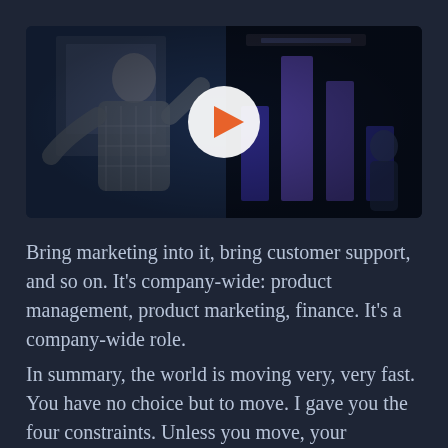[Figure (photo): Video thumbnail showing a presenter (bald man in plaid shirt) speaking on stage with a whiteboard and dark background with bar chart visuals. A play button overlay is centered on the image.]
Bring marketing into it, bring customer support, and so on. It's company-wide: product management, product marketing, finance. It's a company-wide role.
In summary, the world is moving very, very fast. You have no choice but to move. I gave you the four constraints. Unless you move, your competitors will. It's my contention that sales